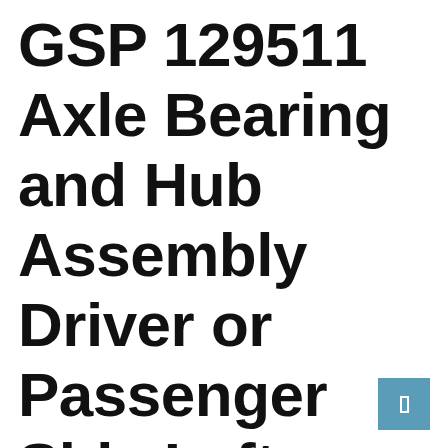GSP 129511 Axle Bearing and Hub Assembly Driver or Passenger Side Left or Right Front